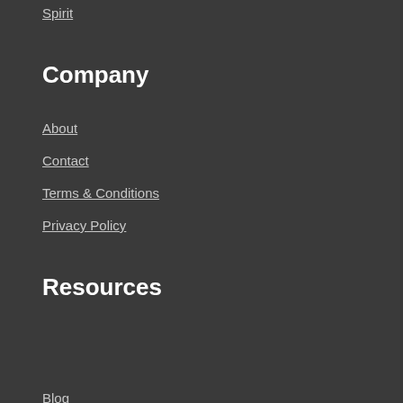Spirit
Company
About
Contact
Terms & Conditions
Privacy Policy
Resources
Blog
Wholesale
Newsletter
[Figure (illustration): Gold SSL 100% Secure Transactions seal badge with stars]